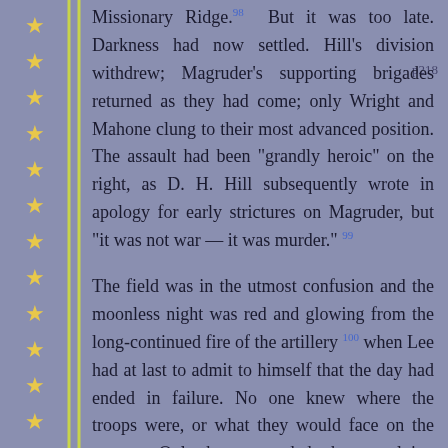p218
Missionary Ridge.98 But it was too late. Darkness had now settled. Hill's division withdrew; Magruder's supporting brigades returned as they had come; only Wright and Mahone clung to their most advanced position. The assault had been "grandly heroic" on the right, as D. H. Hill subsequently wrote in apology for early strictures on Magruder, but "it was not war — it was murder." 99
The field was in the utmost confusion and the moonless night was red and glowing from the long-continued fire of the artillery 100 when Lee had at last to admit to himself that the day had ended in failure. No one knew where the troops were, or what they would face on the morrow. Only those wounded who were lying close to the